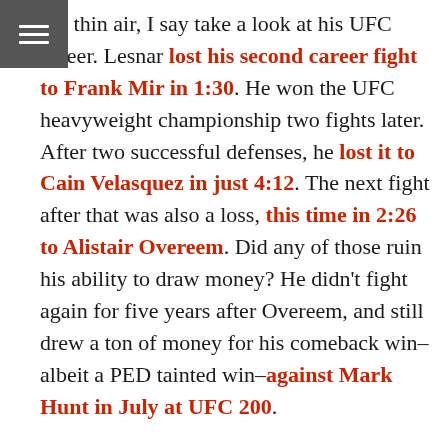nto thin air, I say take a look at his UFC career. Lesnar lost his second career fight to Frank Mir in 1:30. He won the UFC heavyweight championship two fights later. After two successful defenses, he lost it to Cain Velasquez in just 4:12. The next fight after that was also a loss, this time in 2:26 to Alistair Overeem. Did any of those ruin his ability to draw money? He didn't fight again for five years after Overeem, and still drew a ton of money for his comeback win–albeit a PED tainted win–against Mark Hunt in July at UFC 200.